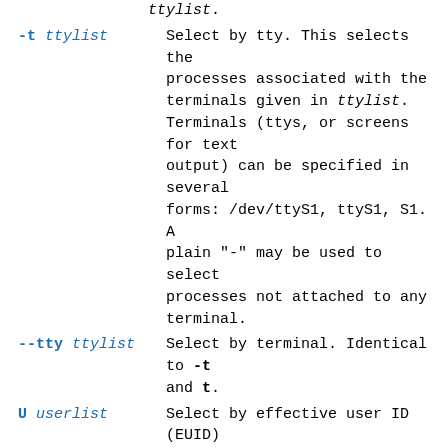ttylist.
-t ttylist
Select by tty. This selects the processes associated with the terminals given in ttylist. Terminals (ttys, or screens for text output) can be specified in several forms: /dev/ttyS1, ttyS1, S1. A plain "-" may be used to select processes not attached to any terminal.
--tty ttylist
Select by terminal. Identical to -t and t.
U userlist
Select by effective user ID (EUID) or name. This selects the processes whose effective user name or ID is in userlist. The effective user ID describes the user whose file access permissions are used by the process (see geteuid(2)). Identical to -u